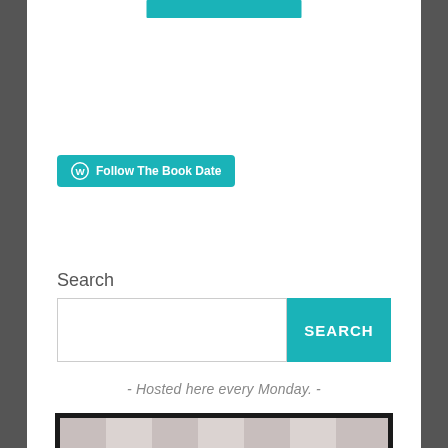[Figure (other): Teal/turquoise button bar at the top of the page]
[Figure (other): WordPress Follow The Book Date teal button with WordPress circle icon]
Search
[Figure (other): Search input box with SEARCH teal button]
- Hosted here every Monday. -
[Figure (illustration): Book Date logo: cursive purple text reading 'Book Date' on a striped beige/grey background with dark border frame]